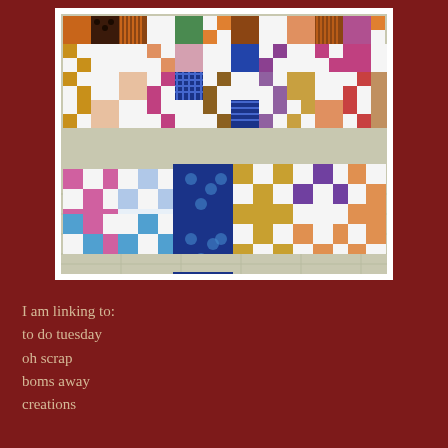[Figure (photo): Photograph of colorful patchwork quilt blocks laid out on a cutting mat. The blocks feature a nine-patch style pattern in various fabrics including orange, black polka dot, striped, green, pink, blue plaid, golden yellow, purple, and white fabrics arranged in a grid.]
I am linking to:
to do tuesday
oh scrap

boms away

creations